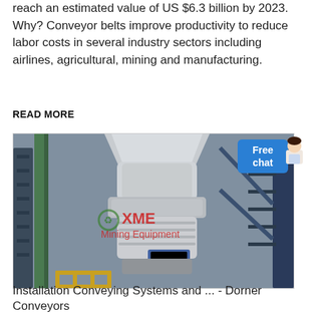reach an estimated value of US $6.3 billion by 2023. Why? Conveyor belts improve productivity to reduce labor costs in several industry sectors including airlines, agricultural, mining and manufacturing.
READ MORE
[Figure (photo): Industrial mining equipment - large grey vertical mill/grinder inside an industrial facility with green and blue steel structures. XME Mining Equipment watermark visible on image. Free chat badge overlay in top right corner.]
Installation Conveying Systems and ... - Dorner Conveyors